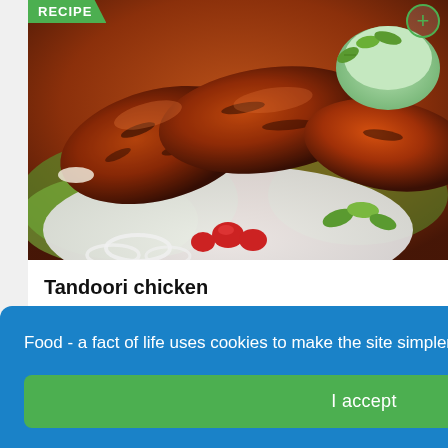[Figure (photo): Tandoori chicken pieces on a white plate with onion rings, tomatoes, mint leaves, and a green dipping sauce in the background. Green 'RECIPE' banner in top-left corner and a green circle-plus icon in top-right.]
Tandoori chicken
Low-Medium
90+ mins
Food - a fact of life uses cookies to make the site simpler.  Find out more about cookies
I accept